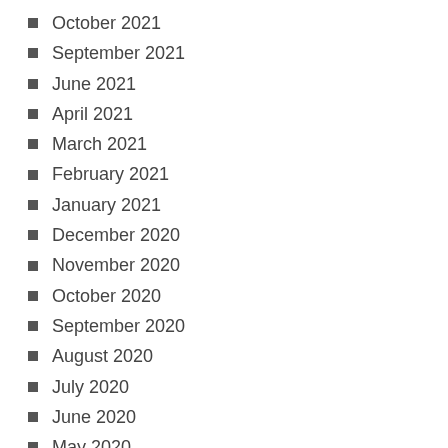October 2021
September 2021
June 2021
April 2021
March 2021
February 2021
January 2021
December 2020
November 2020
October 2020
September 2020
August 2020
July 2020
June 2020
May 2020
April 2020
March 2020